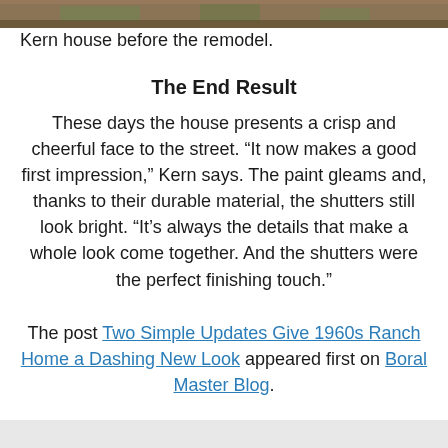[Figure (photo): Top strip of a photo showing the Kern house before the remodel — dirt, mulch, and foliage visible.]
Kern house before the remodel.
The End Result
These days the house presents a crisp and cheerful face to the street. “It now makes a good first impression,” Kern says. The paint gleams and, thanks to their durable material, the shutters still look bright. “It’s always the details that make a whole look come together. And the shutters were the perfect finishing touch.”
The post Two Simple Updates Give 1960s Ranch Home a Dashing New Look appeared first on Boral Master Blog.